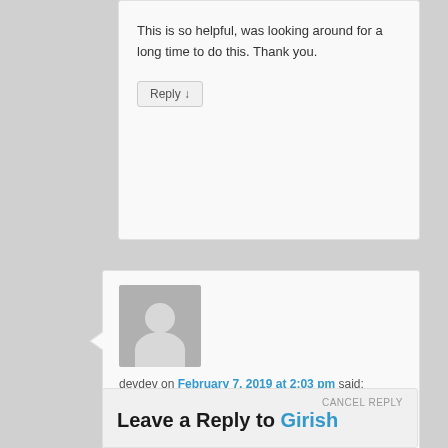This is so helpful, was looking around for a long time to do this. Thank you.
Reply ↓
[Figure (illustration): Generic user avatar placeholder — grey square with silhouette of person (circle head, rounded body)]
devdev on February 7, 2019 at 2:03 pm said:
What happens if the squid service dies? Do all your other boxes become unable to run yum?
Reply ↓
CANCEL REPLY
Leave a Reply to Girish KC